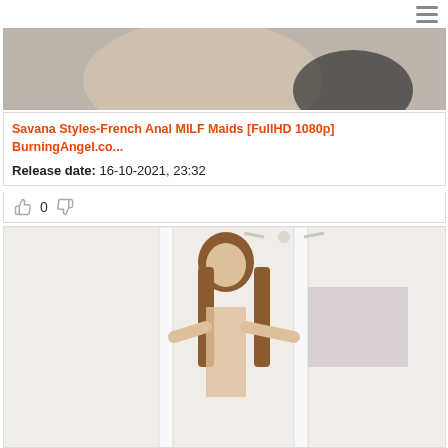[Figure (photo): Partial view of a figure, cropped at top of page]
Savana Styles-French Anal MILF Maids [FullHD 1080p] BurningAngel.co...
Release date: 16-10-2021, 23:32
0
[Figure (photo): Photo of a woman with long brown hair standing in a doorway]